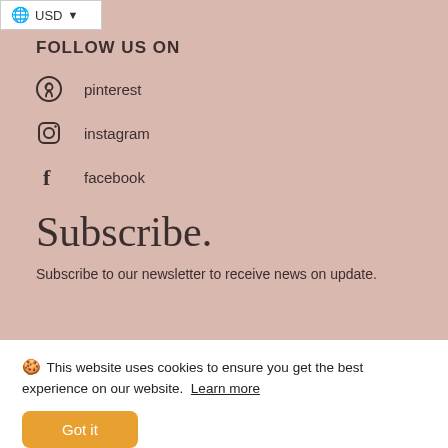USD
FOLLOW US ON
pinterest
instagram
facebook
Subscribe.
Subscribe to our newsletter to receive news on update.
🍪 This website uses cookies to ensure you get the best experience on our website. Learn more
Got it